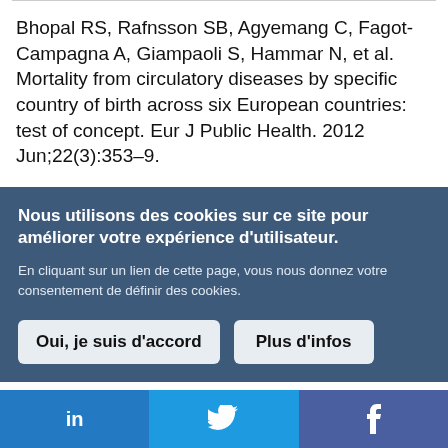Bhopal RS, Rafnsson SB, Agyemang C, Fagot-Campagna A, Giampaoli S, Hammar N, et al. Mortality from circulatory diseases by specific country of birth across six European countries: test of concept. Eur J Public Health. 2012 Jun;22(3):353–9.
Nous utilisons des cookies sur ce site pour améliorer votre expérience d'utilisateur.
En cliquant sur un lien de cette page, vous nous donnez votre consentement de définir des cookies.
Oui, je suis d'accord
Plus d'infos
in  [Twitter bird]  f